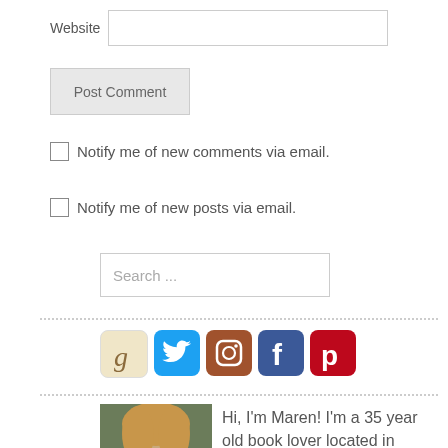Website
Post Comment
Notify me of new comments via email.
Notify me of new posts via email.
Search ...
[Figure (illustration): Row of 5 social media icons: Goodreads (tan/beige), Twitter (light blue), Instagram (brown/orange gradient), Facebook (dark blue), Pinterest (red)]
[Figure (photo): Headshot of a woman with blonde hair]
Hi, I'm Maren! I'm a 35 year old book lover located in Minnesota with my husband and two adorable but pesky